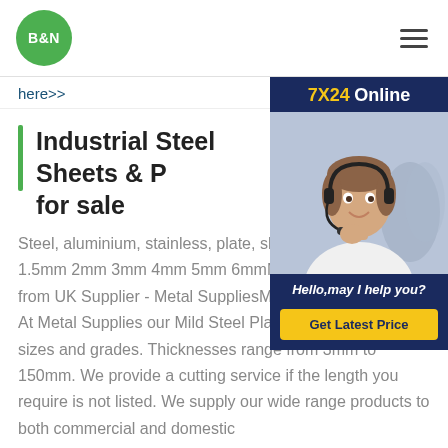[Figure (logo): B&N green circular logo]
here>>
Industrial Steel Sheets & F... for sale
Steel, aluminium, stainless, plate, sheet... 1.5mm 2mm 3mm 4mm 5mm 6mmMild... from UK Supplier - Metal SuppliesMild... At Metal Supplies our Mild Steel Plates come in various sizes and grades. Thicknesses range from 3mm to 150mm. We provide a cutting service if the length you require is not listed. We supply our wide range products to both commercial and domestic
[Figure (infographic): 7X24 Online chat widget with customer service representative photo and 'Hello, may I help you?' message and 'Get Latest Price' button]